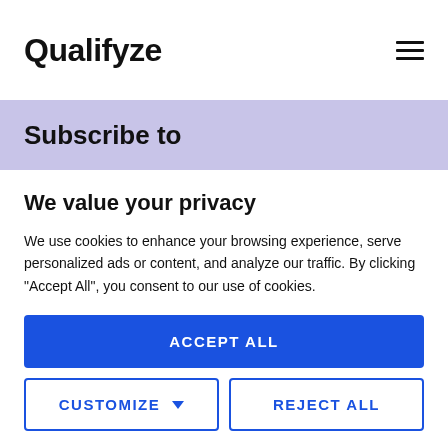Qualifyze
Subscribe to
We value your privacy
We use cookies to enhance your browsing experience, serve personalized ads or content, and analyze our traffic. By clicking "Accept All", you consent to our use of cookies.
ACCEPT ALL
CUSTOMIZE
REJECT ALL